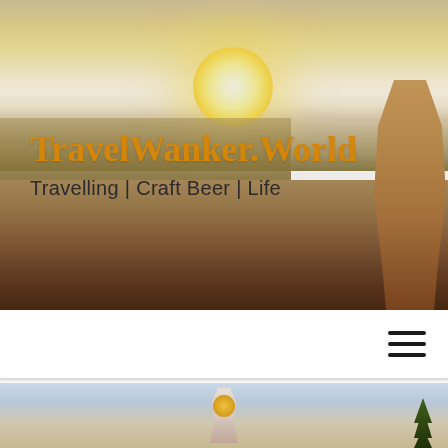[Figure (photo): Hero banner image of a beach at sunset with golden light, sandy shore, ocean waves, and a silhouette of a person on the right edge. The background shows a bright sun and warm golden sky.]
TravelWanker.World
Travelling | Craft Beer | Life
[Figure (illustration): Hamburger menu icon with three horizontal black lines on white navigation bar background.]
[Figure (photo): Partially visible photo of a white and gold Buddha statue sitting in meditation pose, with trees visible in the background on the right.]